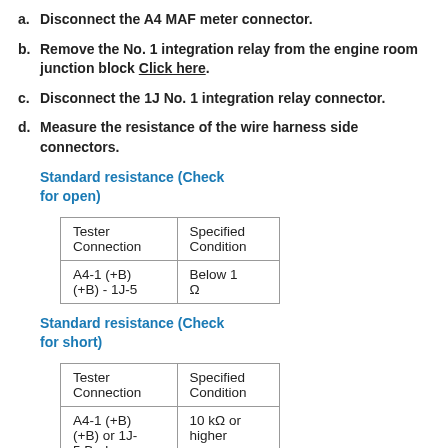a. Disconnect the A4 MAF meter connector.
b. Remove the No. 1 integration relay from the engine room junction block Click here.
c. Disconnect the 1J No. 1 integration relay connector.
d. Measure the resistance of the wire harness side connectors.
Standard resistance (Check for open)
| Tester Connection | Specified Condition |
| --- | --- |
| A4-1 (+B) (+B) - 1J-5 | Below 1 Ω |
Standard resistance (Check for short)
| Tester Connection | Specified Condition |
| --- | --- |
| A4-1 (+B) (+B) or 1J-5 Body | 10 kΩ or higher |